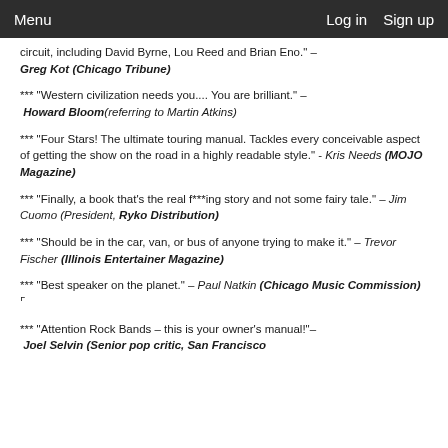Menu   Log in   Sign up
circuit, including David Byrne, Lou Reed and Brian Eno." – Greg Kot (Chicago Tribune)
*** “Western civilization needs you.... You are brilliant.” – Howard Bloom (referring to Martin Atkins)
*** “Four Stars! The ultimate touring manual. Tackles every conceivable aspect of getting the show on the road in a highly readable style.” - Kris Needs (MOJO Magazine)
*** “Finally, a book that’s the real f***ing story and not some fairy tale.” – Jim Cuomo (President, Ryko Distribution)
*** “Should be in the car, van, or bus of anyone trying to make it.” – Trevor Fischer (Illinois Entertainer Magazine)
*** “Best speaker on the planet.” – Paul Natkin (Chicago Music Commission)
*** “Attention Rock Bands – this is your owner’s manual!”– Joel Selvin (Senior pop critic, San Francisco